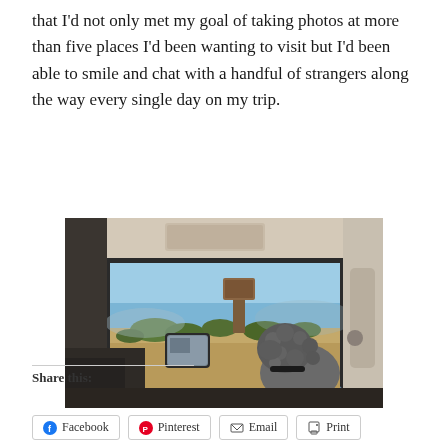that I'd not only met my goal of taking photos at more than five places I'd been wanting to visit but I'd been able to smile and chat with a handful of strangers along the way every single day on my trip.
[Figure (photo): View from inside a truck cab through the open passenger window showing a dog with curly grey fur leaning out to look at desert landscape with scrubby bushes, sandy terrain, a wooden sign post, blue sky, and the truck's side mirror visible.]
Share this:
Facebook
Pinterest
Email
Print